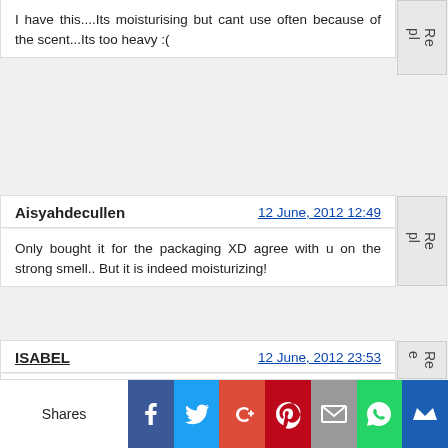I have this....Its moisturising but cant use often because of the scent...Its too heavy :(
Aisyahdecullen — 12 June, 2012 12:49
Only bought it for the packaging XD agree with u on the strong smell.. But it is indeed moisturizing!
ISABEL — 12 June, 2012 23:53
Maybe I should open it and let it 'air' lolz Wonder if that would work